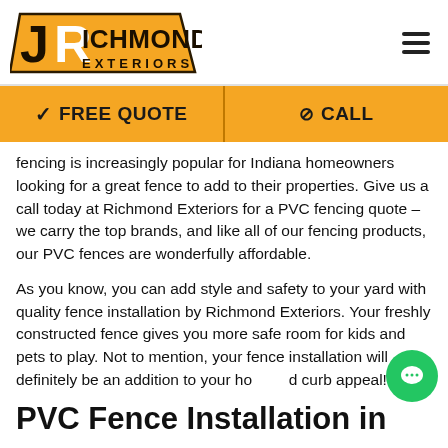[Figure (logo): Richmond Exteriors logo with orange stylized JR monogram and bold text]
✓ FREE QUOTE  ⊘ CALL
fencing is increasingly popular for Indiana homeowners looking for a great fence to add to their properties. Give us a call today at Richmond Exteriors for a PVC fencing quote – we carry the top brands, and like all of our fencing products, our PVC fences are wonderfully affordable.
As you know, you can add style and safety to your yard with quality fence installation by Richmond Exteriors. Your freshly constructed fence gives you more safe room for kids and pets to play. Not to mention, your fence installation will definitely be an addition to your home's curb appeal!
PVC Fence Installation in